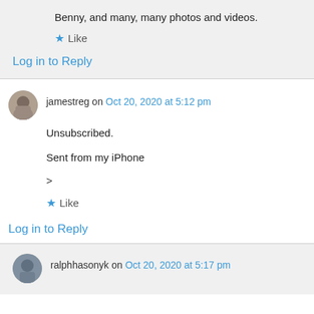Benny, and many, many photos and videos.
★ Like
Log in to Reply
jamestreg on Oct 20, 2020 at 5:12 pm
Unsubscribed.
Sent from my iPhone
>
★ Like
Log in to Reply
ralphhasonyk on Oct 20, 2020 at 5:17 pm